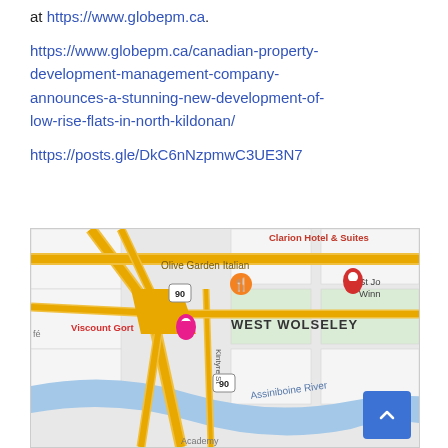at https://www.globepm.ca.
https://www.globepm.ca/canadian-property-development-management-company-announces-a-stunning-new-development-of-low-rise-flats-in-north-kildonan/
https://posts.gle/DkC6nNzpmwC3UE3N7
[Figure (map): Google Maps screenshot showing West Wolseley area with Assiniboine River, Olive Garden Italian, Clarion Hotel & Suites, Viscount Gort, road intersections with highway 90, and Kintyre St labeled.]